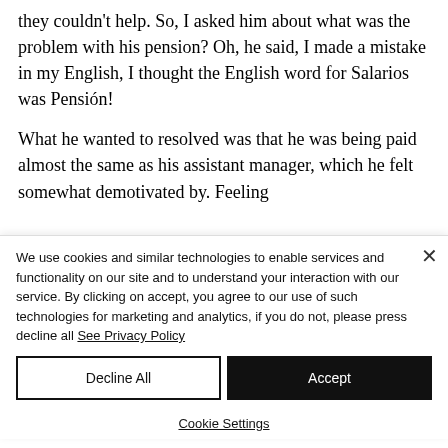they couldn't help. So, I asked him about what was the problem with his pension? Oh, he said, I made a mistake in my English, I thought the English word for Salarios was Pensión!
What he wanted to resolved was that he was being paid almost the same as his assistant manager, which he felt somewhat demotivated by. Feeling...
We use cookies and similar technologies to enable services and functionality on our site and to understand your interaction with our service. By clicking on accept, you agree to our use of such technologies for marketing and analytics, if you do not, please press decline all See Privacy Policy